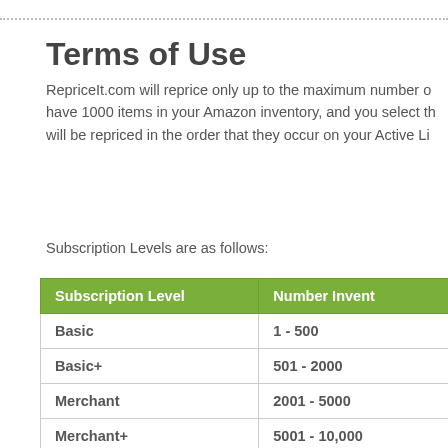Terms of Use
RepriceIt.com will reprice only up to the maximum number of items allowed for your Subscription Level. For example, if you have 1000 items in your Amazon inventory, and you select the Basic subscription level, only 500 of your items will be repriced in the order that they occur on your Active Listings Report.
Subscription Levels are as follows:
| Subscription Level | Number Inventory Items |
| --- | --- |
| Basic | 1 - 500 |
| Basic+ | 501 - 2000 |
| Merchant | 2001 - 5000 |
| Merchant+ | 5001 - 10,000 |
| Pro | 10,001 - 20,000 |
| Pro+ | 20,001 - 50,000 |
| Premier | 50,001 - 100,000 |